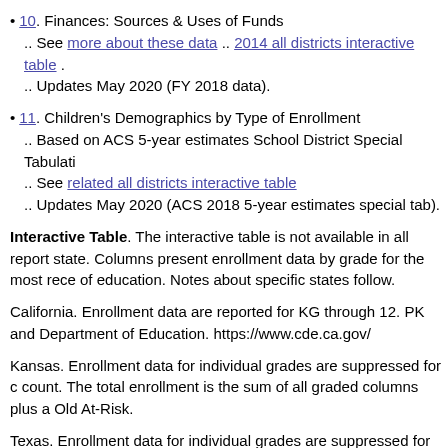10. Finances: Sources & Uses of Funds
.. See more about these data .. 2014 all districts interactive table .
.. Updates May 2020 (FY 2018 data).
11. Children's Demographics by Type of Enrollment
.. Based on ACS 5-year estimates School District Special Tabulation
.. See related all districts interactive table
.. Updates May 2020 (ACS 2018 5-year estimates special tab).
Interactive Table. The interactive table is not available in all reports state. Columns present enrollment data by grade for the most recent of education. Notes about specific states follow.
California. Enrollment data are reported for KG through 12. PK and Department of Education. https://www.cde.ca.gov/
Kansas. Enrollment data for individual grades are suppressed for count. The total enrollment is the sum of all graded columns plus at-risk Old At-Risk.
Texas. Enrollment data for individual grades are suppressed for count. have substituted the value 10 as the count. The total enrollment is ungraded, special ed or at-risk columns.
Glossary -- goto top